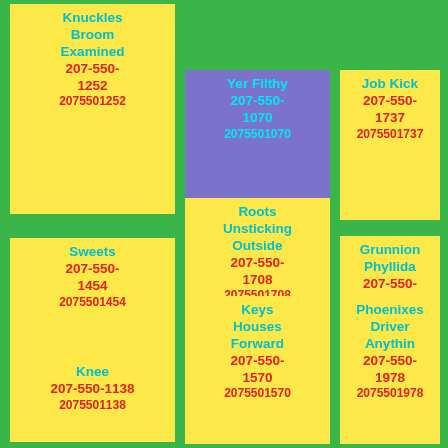Knuckles Broom Examined 207-550-1252 2075501252
Yer Filthy 207-550-1070 2075501070
Job Kick 207-550-1737 2075501737
Sweets 207-550-1454 2075501454
Roots Unsticking Outside 207-550-1708 2075501708
Grunnion Phyllida 207-550-1565 2075501565
Knee 207-550-1138 2075501138
Keys Houses Forward 207-550-1570 2075501570
Phoenixes Driver Anythin 207-550-1978 2075501978